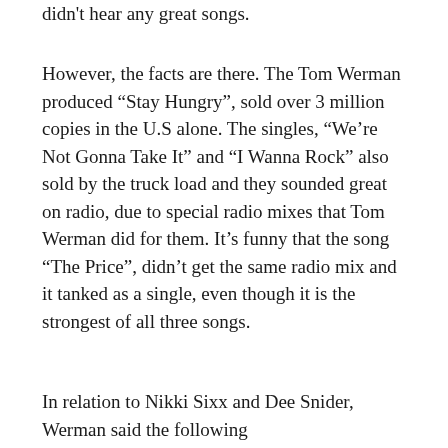didn't hear any great songs.
However, the facts are there. The Tom Werman produced “Stay Hungry”, sold over 3 million copies in the U.S alone. The singles, “We’re Not Gonna Take It” and “I Wanna Rock” also sold by the truck load and they sounded great on radio, due to special radio mixes that Tom Werman did for them. It’s funny that the song “The Price”, didn’t get the same radio mix and it tanked as a single, even though it is the strongest of all three songs.
In relation to Nikki Sixx and Dee Snider, Werman said the following